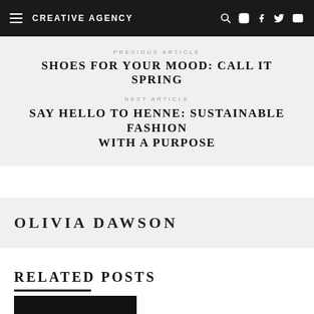CREATIVE AGENCY
PREVIOUS ARTICLE
SHOES FOR YOUR MOOD: CALL IT SPRING
NEXT ARTICLE
SAY HELLO TO HENNE: SUSTAINABLE FASHION WITH A PURPOSE
OLIVIA DAWSON
RELATED POSTS